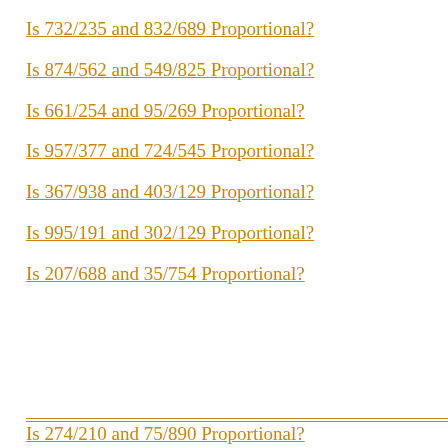Is 732/235 and 832/689 Proportional?
Is 874/562 and 549/825 Proportional?
Is 661/254 and 95/269 Proportional?
Is 957/377 and 724/545 Proportional?
Is 367/938 and 403/129 Proportional?
Is 995/191 and 302/129 Proportional?
Is 207/688 and 35/754 Proportional?
Is 274/210 and 75/890 Proportional?